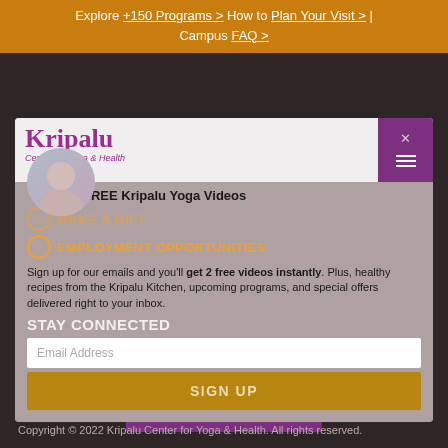Explore +150 Programs > How to Plan Your Visit > | Campus FAQ >
[Figure (screenshot): Kripalu Center for Yoga & Health website modal popup with logo, navigation hamburger menu, circular profile image, employment opportunities link, email signup form with SIGN UP button]
FREE Kripalu Yoga Videos
MAKE A GIFT
EMPLOYMENT OPPORTUNITIES
Sign up for our emails and you'll get 2 free videos instantly. Plus, healthy recipes from the Kripalu Kitchen, upcoming programs, and special offers delivered right to your inbox.
STAY CONNECTED
Email Address
SIGN UP
SIGN UP
Copyright © 2022 Kripalu Center for Yoga & Health. All rights reserved.